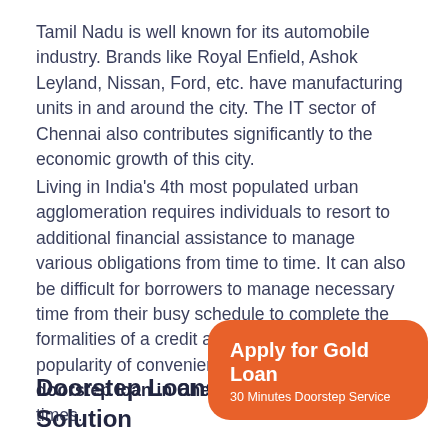Tamil Nadu is well known for its automobile industry. Brands like Royal Enfield, Ashok Leyland, Nissan, Ford, etc. have manufacturing units in and around the city. The IT sector of Chennai also contributes significantly to the economic growth of this city.
Living in India's 4th most populated urban agglomeration requires individuals to resort to additional financial assistance to manage various obligations from time to time. It can also be difficult for borrowers to manage necessary time from their busy schedule to complete the formalities of a credit application. Hence, the popularity of convenient financing methods like doorstep loan in Chennai has soared in recent times.
Doorstep Loans – A Solution
[Figure (other): Orange CTA button: 'Apply for Gold Loan' with subtitle '30 Minutes Doorstep Service']